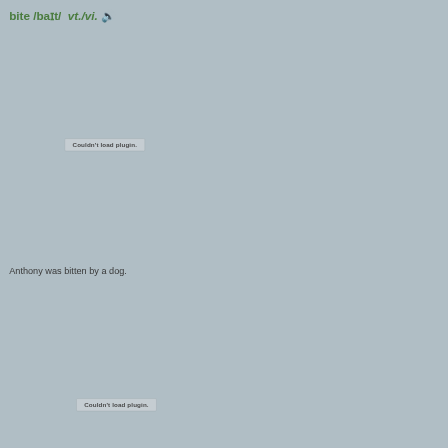bite /baɪt/  vt./vi. 🔊
[Figure (other): Couldn't load plugin. — audio plugin placeholder box]
Anthony was bitten by a dog.
[Figure (other): Couldn't load plugin. — audio plugin placeholder box]